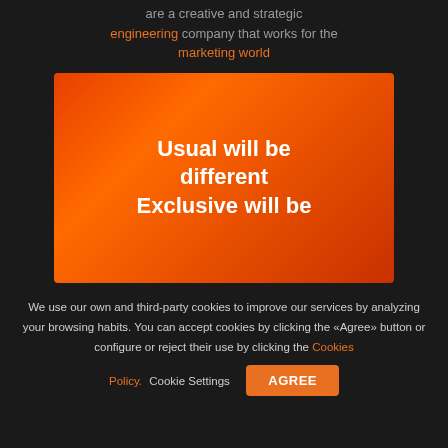are a creative and strategic engineering company that works for the marketing world
[Figure (illustration): Orange smoky/misty background image with white bold text overlay reading: Usual will be different Exclusive will be [cut off]]
We use our own and third-party cookies to improve our services by analyzing your browsing habits. You can accept cookies by clicking the «Agree» button or configure or reject their use by clicking the Cookies Policy. Cookie Settings
AGREE